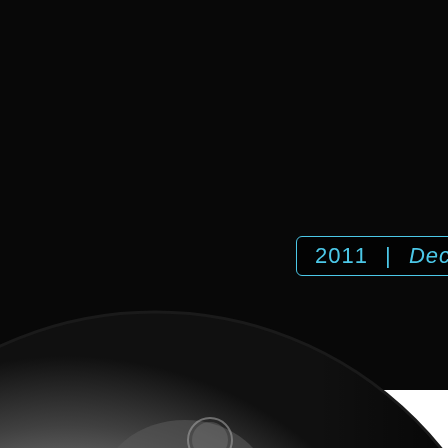[Figure (photo): Close-up photograph of the Moon against a black background, showing detailed lunar surface with craters, maria, and highlands. The Moon occupies the lower-left and center of the frame, with the terminator visible on the right side.]
2011  |  December 2011